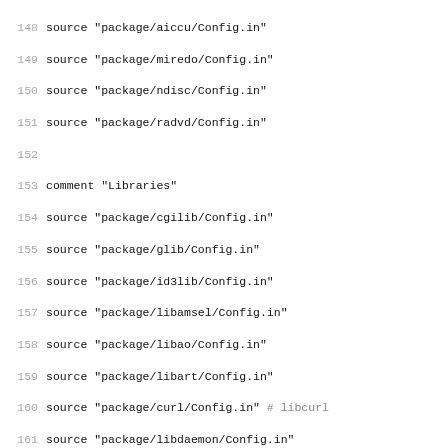148 source "package/aiccu/Config.in"
149 source "package/miredo/Config.in"
150 source "package/ndisc/Config.in"
151 source "package/radvd/Config.in"
152
153 comment "Libraries"
154 source "package/cgilib/Config.in"
155 source "package/glib/Config.in"
156 source "package/id3lib/Config.in"
157 source "package/libamsel/Config.in"
158 source "package/libao/Config.in"
159 source "package/libart/Config.in"
160 source "package/curl/Config.in" # libcurl
161 source "package/libdaemon/Config.in"
162 source "package/libdb/Config.in"
163 source "package/libdnet/Config.in"
164 source "package/libelf/Config.in"
165 source "package/libevent/Config.in"
166 source "package/expat/Config.in" # libexpat
167 source "package/flac/Config.in"  # libflac
168 source "package/freetype/Config.in"  # libfreetype
169 source "package/libgcrypt/Config.in"
170 source "package/libgd/Config.in"
171 source "package/libgdbm/Config.in"
172 source "package/gmp/Config.in"  # libgmp
173 source "package/gnutls/Config.in" ## libgnutls
174 source "package/libgpg-error/Config.in"
175 source "package/gsm/Config.in" # libgsm
176 source "package/libid3tag/Config.in"
177 source "package/jpeg/Config.in"  # libjpeg
178 source "package/libtool/Config.in"  # libltdl
179 source "package/liblzo/Config.in"